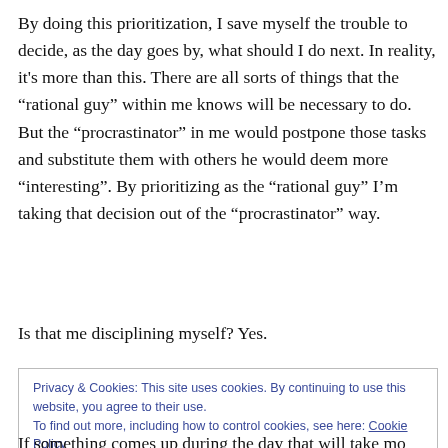By doing this prioritization, I save myself the trouble to decide, as the day goes by, what should I do next. In reality, it's more than this. There are all sorts of things that the “rational guy” within me knows will be necessary to do. But the “procrastinator” in me would postpone those tasks and substitute them with others he would deem more “interesting”. By prioritizing as the “rational guy” I'm taking that decision out of the “procrastinator” way.
Is that me disciplining myself? Yes.
Privacy & Cookies: This site uses cookies. By continuing to use this website, you agree to their use.
To find out more, including how to control cookies, see here: Cookie Policy
If something comes up during the day that will take mo